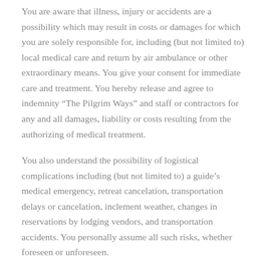You are aware that illness, injury or accidents are a possibility which may result in costs or damages for which you are solely responsible for, including (but not limited to) local medical care and return by air ambulance or other extraordinary means. You give your consent for immediate care and treatment. You hereby release and agree to indemnity “The Pilgrim Ways” and staff or contractors for any and all damages, liability or costs resulting from the authorizing of medical treatment.
You also understand the possibility of logistical complications including (but not limited to) a guide’s medical emergency, retreat cancelation, transportation delays or cancelation, inclement weather, changes in reservations by lodging vendors, and transportation accidents. You personally assume all such risks, whether foreseen or unforeseen.
To mitigate against such risks, you are aware that